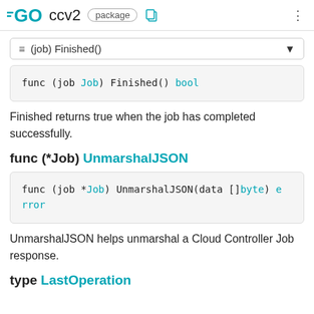GO ccv2 package
≡ (job) Finished()
func (job Job) Finished() bool
Finished returns true when the job has completed successfully.
func (*Job) UnmarshalJSON
func (job *Job) UnmarshalJSON(data []byte) error
UnmarshalJSON helps unmarshal a Cloud Controller Job response.
type LastOperation